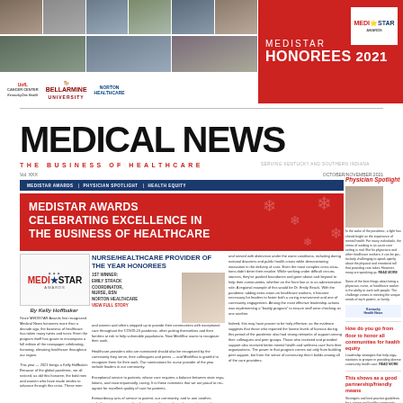[Figure (photo): Top row of six headshot photos of medical professionals]
[Figure (photo): Second row of three headshot photos of medical professionals]
[Figure (logo): Logos: UofL, Bellarmine University, Norton Health]
[Figure (infographic): Red banner: MEDISTAR HONOREES 2021 with Medi-Star logo]
MEDICAL NEWS
THE BUSINESS OF HEALTHCARE
Vol. XXX
MEDISTAR AWARDS CELEBRATING EXCELLENCE IN THE BUSINESS OF HEALTHCARE
NURSE/HEALTHCARE PROVIDER OF THE YEAR HONOREES
[Figure (photo): MediStar logo box]
By Kelly Hoffbaker
Body text describing MediStar awards and honorees
[Figure (photo): Honoree headshot photo]
Honoree info block with name, organization, title
Article body text columns
[Figure (photo): Physician Spotlight sidebar photo]
Physician Spotlight sidebar text
How do you go from floor to honor all communities for health equity sidebar
This shows as a good partnership/friendly means sidebar